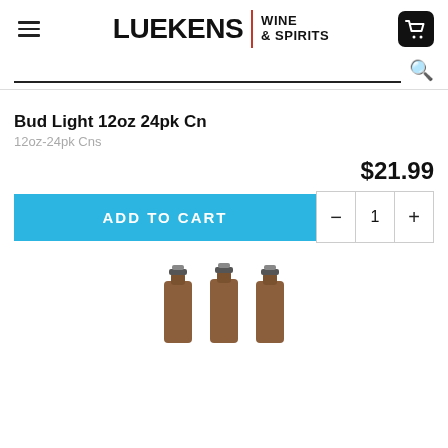[Figure (logo): Luekens Wine & Spirits logo with hamburger menu icon on left and shopping cart icon on right]
[Figure (screenshot): Search bar with magnifying glass icon]
Bud Light 12oz 24pk Cn
12oz-24pk Cns
$21.99
ADD TO CART
[Figure (photo): Three brown beer bottles partially visible at the bottom of the page]